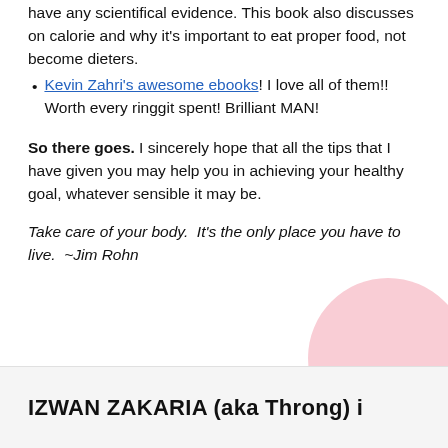Kevin Zahri's awesome ebooks! I love all of them!! Worth every ringgit spent! Brilliant MAN!
So there goes. I sincerely hope that all the tips that I have given you may help you in achieving your healthy goal, whatever sensible it may be.
Take care of your body.  It's the only place you have to live.  ~Jim Rohn
IZWAN ZAKARIA (aka Throng) i…